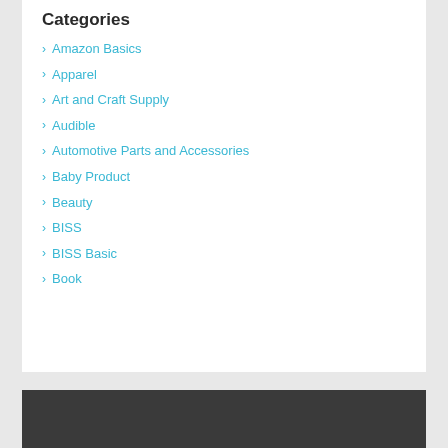Categories
Amazon Basics
Apparel
Art and Craft Supply
Audible
Automotive Parts and Accessories
Baby Product
Beauty
BISS
BISS Basic
Book